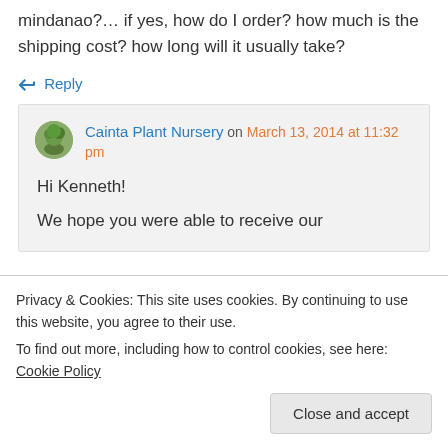mindanao?… if yes, how do I order? how much is the shipping cost? how long will it usually take?
↵ Reply
Cainta Plant Nursery on March 13, 2014 at 11:32 pm
Hi Kenneth!
We hope you were able to receive our
Privacy & Cookies: This site uses cookies. By continuing to use this website, you agree to their use. To find out more, including how to control cookies, see here: Cookie Policy
Close and accept